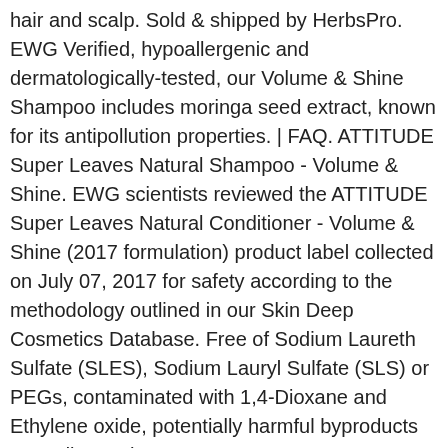hair and scalp. Sold & shipped by HerbsPro. EWG Verified, hypoallergenic and dermatologically-tested, our Volume & Shine Shampoo includes moringa seed extract, known for its antipollution properties. | FAQ. ATTITUDE Super Leaves Natural Shampoo - Volume & Shine. EWG scientists reviewed the ATTITUDE Super Leaves Natural Conditioner - Volume & Shine (2017 formulation) product label collected on July 07, 2017 for safety according to the methodology outlined in our Skin Deep Cosmetics Database. Free of Sodium Laureth Sulfate (SLES), Sodium Lauryl Sulfate (SLS) or PEGs, contaminated with 1,4-Dioxane and Ethylene oxide, potentially harmful byproducts according to the IARC. ATTITUDE Super Leaves Volume and Shine Shampoo and Conditioner- Soy Protein and Cranberries Bundle With Vitamin B5, Watercress, Indian Cress, and Raspberry, 16 fl. | Legal Disclaimer 112 Reviews. Got this in my Boxycharm and I'm so glad I did! EWG verified&#226;&#162;, hypoallergenic and dermatologically-tested, the Super Leaves volume and shine shampoo includes moringa seed extract, known for its